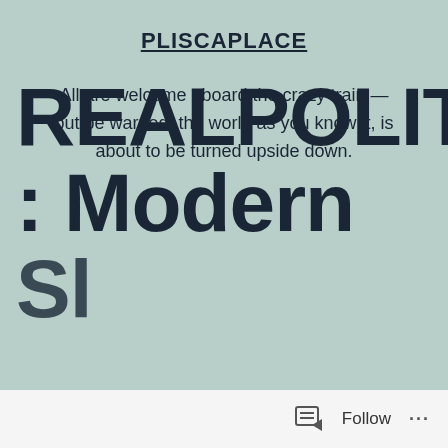PLISCAPLACE
All are welcome aboard the crazy train — but be warned, the world as you know it, is about to be turned upside down.
REALPOLITIK : Modern Sl...
Follow ...